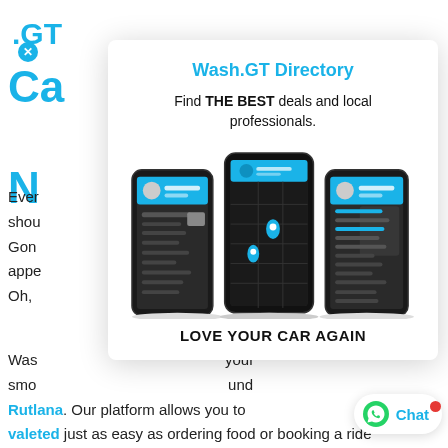[Figure (logo): .GT logo with blue X circle]
Ca... r
N...
Ever... d so
shou... ton.
Gon... up
appe... ight.
Oh,...
Wash.GT Directory
Find THE BEST deals and local professionals.
[Figure (screenshot): Three smartphone screens showing the Wash.GT app with map and menu interfaces]
LOVE YOUR CAR AGAIN
Was... your
smo... und
Rutlana. Our platform allows you to
valeted just as easy as ordering food or booking a ride